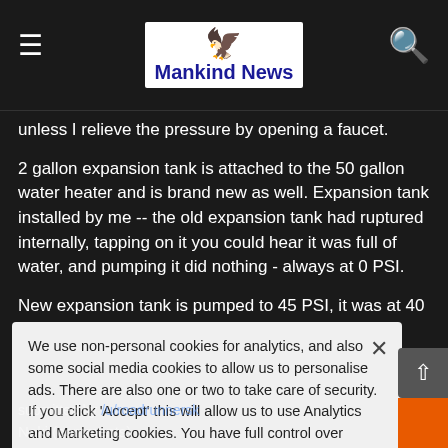Mankind News
unless I relieve the pressure by opening a faucet.
2 gallon expansion tank is attached to the 50 gallon water heater and is brand new as well. Expansion tank installed by me -- the old expansion tank had ruptured internally, tapping on it you could hear it was full of water, and pumping it did nothing - always at 0 PSI.
New expansion tank is pumped to 45 PSI, it was at 40 PSI from the Home Depot, I pumped it a little bit
Any thoughts here? I can only imagine that the expansion tank is too small, but -- Other houses I've lived in have the exact same setup and I didn't have this problem.
We use non-personal cookies for analytics, and also some social media cookies to allow us to personalise ads. There are also one or two to take care of security. If you click 'Accept' this will allow us to use Analytics and Marketing cookies. You have full control over which cookies may be set by clicking 'Settings'.
submitted by /u/roadrunnersk
Noki (comments)